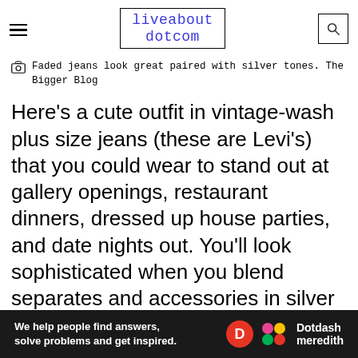liveabout dotcom
Faded jeans look great paired with silver tones. The Bigger Blog
Here's a cute outfit in vintage-wash plus size jeans (these are Levi's) that you could wear to stand out at gallery openings, restaurant dinners, dressed up house parties, and date nights out. You'll look sophisticated when you blend separates and accessories in silver tones with a lighter wash, plus size skinny jean that conforms to your every curve.
06 Chic Black and White
Ad
We help people find answers, solve problems and get inspired. Dotdash meredith